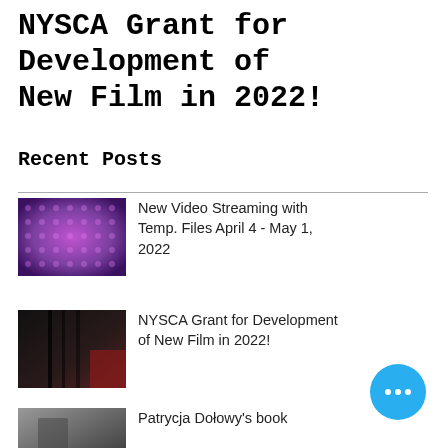NYSCA Grant for Development of New Film in 2022!
Recent Posts
[Figure (photo): Thumbnail image with purple/violet mesh texture for New Video Streaming post]
New Video Streaming with Temp. Files April 4 - May 1, 2022
[Figure (photo): Thumbnail image with dark indoor scene for NYSCA Grant post]
NYSCA Grant for Development of New Film in 2022!
[Figure (photo): Thumbnail image in grayscale for Patrycja Dołowy book post]
Patrycja Dołowy's book